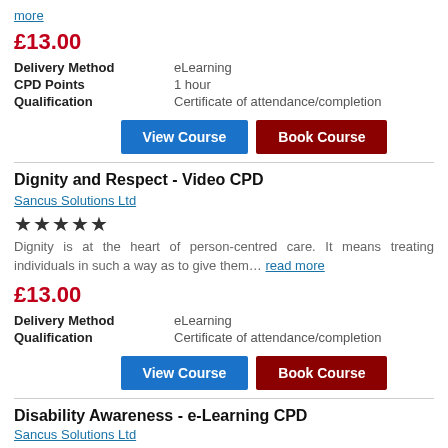more
£13.00
| Delivery Method | eLearning |
| CPD Points | 1 hour |
| Qualification | Certificate of attendance/completion |
View Course | Book Course
Dignity and Respect - Video CPD
Sancus Solutions Ltd
★★★★★
Dignity is at the heart of person-centred care. It means treating individuals in such a way as to give them… read more
£13.00
| Delivery Method | eLearning |
| Qualification | Certificate of attendance/completion |
View Course | Book Course
Disability Awareness - e-Learning CPD
Sancus Solutions Ltd